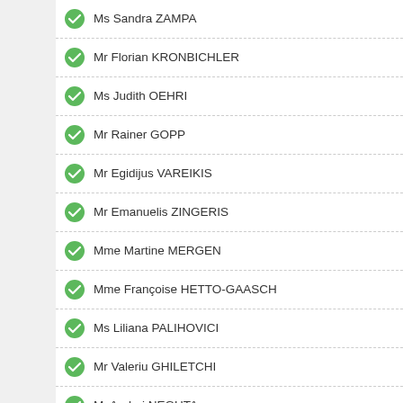Ms Sandra ZAMPA
Mr Florian KRONBICHLER
Ms Judith OEHRI
Mr Rainer GOPP
Mr Egidijus VAREIKIS
Mr Emanuelis ZINGERIS
Mme Martine MERGEN
Mme Françoise HETTO-GAASCH
Ms Liliana PALIHOVICI
Mr Valeriu GHILETCHI
M. Andrei NEGUTA
Mme Valentina BULIGA
Ms Ria OOMEN-RUIJTEN
Mr Paul SCHNABEL
Mr Koos SCHOUWENAAR
Mr Tiny KOX
Mr Pieter OMTZIGT